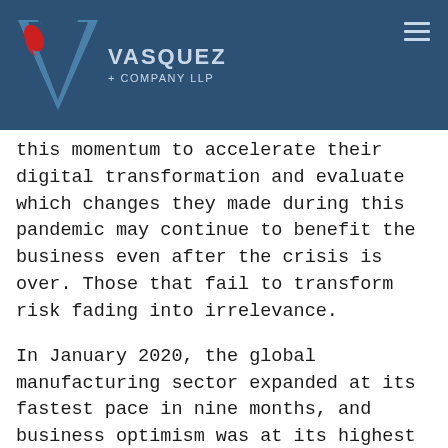VASQUEZ + COMPANY LLP
this momentum to accelerate their digital transformation and evaluate which changes they made during this pandemic may continue to benefit the business even after the crisis is over. Those that fail to transform risk fading into irrelevance.
In January 2020, the global manufacturing sector expanded at its fastest pace in nine months, and business optimism was at its highest level in more than a year. By May, the